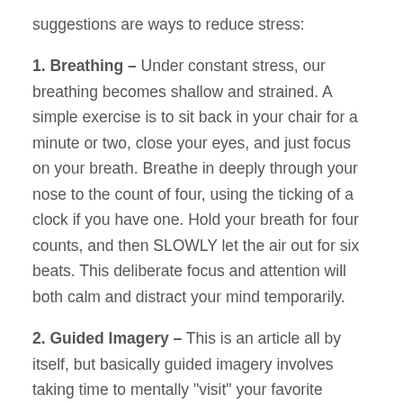suggestions are ways to reduce stress:
1. Breathing – Under constant stress, our breathing becomes shallow and strained. A simple exercise is to sit back in your chair for a minute or two, close your eyes, and just focus on your breath. Breathe in deeply through your nose to the count of four, using the ticking of a clock if you have one. Hold your breath for four counts, and then SLOWLY let the air out for six beats. This deliberate focus and attention will both calm and distract your mind temporarily.
2. Guided Imagery – This is an article all by itself, but basically guided imagery involves taking time to mentally "visit" your favorite place in your mind, vividly imagining all the...